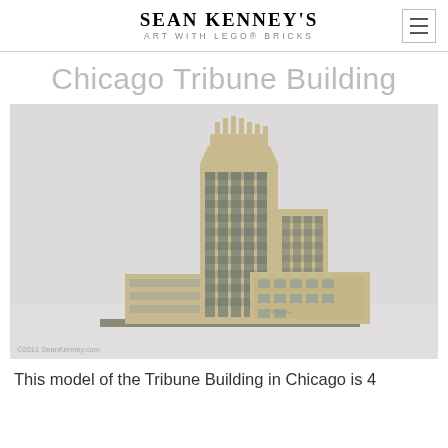Sean Kenney's Art with LEGO® Bricks
Chicago Tribune Building
[Figure (photo): A LEGO brick model of the Chicago Tribune Building, showing the Gothic-style skyscraper with detailed architecture, photographed against a white/grey background. Copyright 2011 SeanKenney.com]
This model of the Tribune Building in Chicago is 4